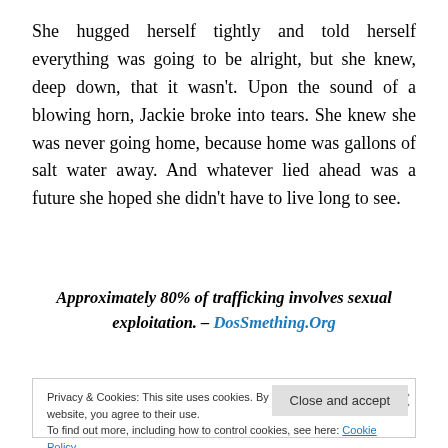She hugged herself tightly and told herself everything was going to be alright, but she knew, deep down, that it wasn't. Upon the sound of a blowing horn, Jackie broke into tears. She knew she was never going home, because home was gallons of salt water away. And whatever lied ahead was a future she hoped she didn't have to live long to see.
Approximately 80% of trafficking involves sexual exploitation. – DosSmething.Org
Privacy & Cookies: This site uses cookies. By continuing to use this website, you agree to their use.
To find out more, including how to control cookies, see here: Cookie Policy